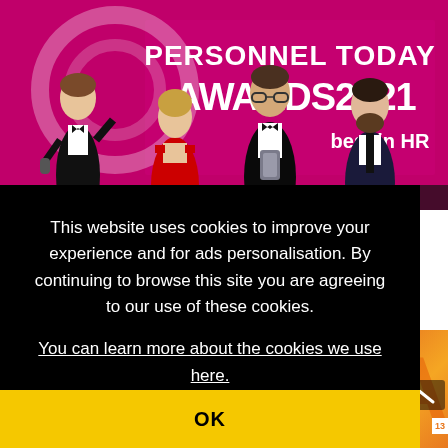[Figure (photo): Four people posing on stage at the Personnel Today Awards 2021 event. The background banner reads 'PERSONNEL TODAY AWARDS 2021 best in HR' in magenta/pink. From left to right: a man in a tuxedo holding a microphone with a thumbs up, a woman in a red dress, a man in a tuxedo holding an award, and a man in a dark suit. Stage lighting visible at the bottom.]
This website uses cookies to improve your experience and for ads personalisation. By continuing to browse this site you are agreeing to our use of these cookies.
You can learn more about the cookies we use here.
OK